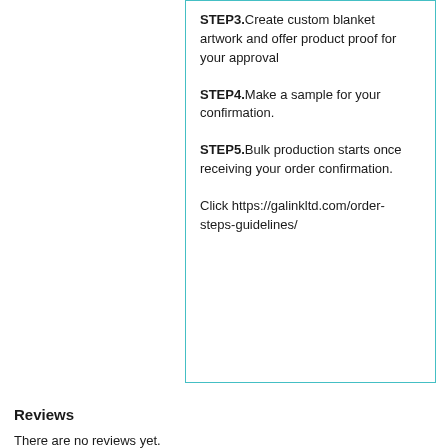STEP3. Create custom blanket artwork and offer product proof for your approval
STEP4. Make a sample for your confirmation.
STEP5. Bulk production starts once receiving your order confirmation.
Click https://galinkltd.com/order-steps-guidelines/
Reviews
There are no reviews yet.